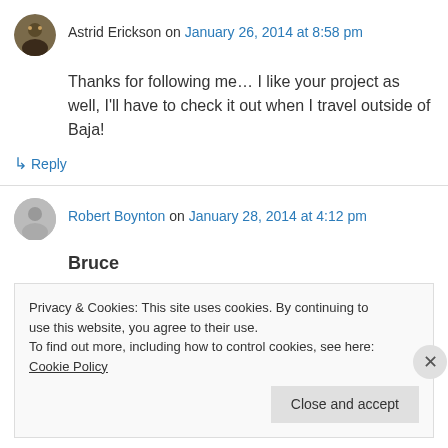Astrid Erickson on January 26, 2014 at 8:58 pm
Thanks for following me… I like your project as well, I'll have to check it out when I travel outside of Baja!
↳ Reply
Robert Boynton on January 28, 2014 at 4:12 pm
Bruce
Privacy & Cookies: This site uses cookies. By continuing to use this website, you agree to their use.
To find out more, including how to control cookies, see here: Cookie Policy
Close and accept